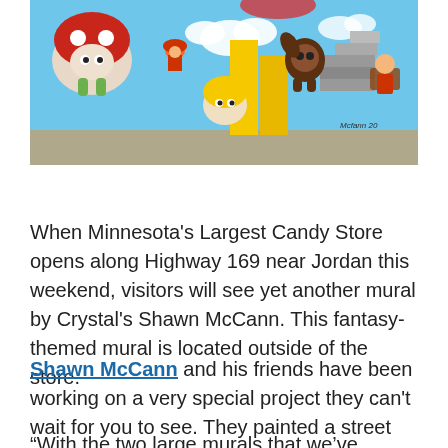[Figure (illustration): A colorful fantasy-themed mural depicting Nintendo/video game characters including Toad, Mario, Donkey Kong, and other characters in a vibrant painted scene with clouds, yellow pillars, and stairs.]
When Minnesota's Largest Candy Store opens along Highway 169 near Jordan this weekend, visitors will see yet another mural by Crystal's Shawn McCann. This fantasy-themed mural is located outside of the store.
Shawn McCann and his friends have been working on a very special project they can't wait for you to see. They painted a street mural outside of the store.
“With the two large murals that we’ve painted on